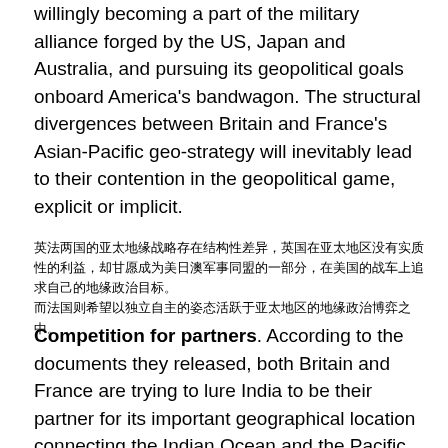willingly becoming a part of the military alliance forged by the US, Japan and Australia, and pursuing its geopolitical goals onboard America's bandwagon. The structural divergences between Britain and France's Asian-Pacific geo-strategy will inevitably lead to their contention in the geopolitical game, explicit or implicit.
[Chinese text paragraph]
Competition for partners. According to the documents they released, both Britain and France are trying to lure India to be their partner for its important geographical location connecting the Indian Ocean and the Pacific Ocean. Given the Indian government's opportunistic tradition, it is bound to strike a balance between the two